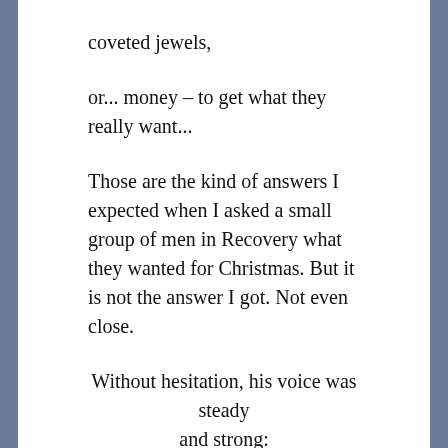coveted jewels,
or... money – to get what they really want...
Those are the kind of answers I expected when I asked a small group of men in Recovery what they wanted for Christmas. But it is not the answer I got. Not even close.
Without hesitation, his voice was steady and strong: